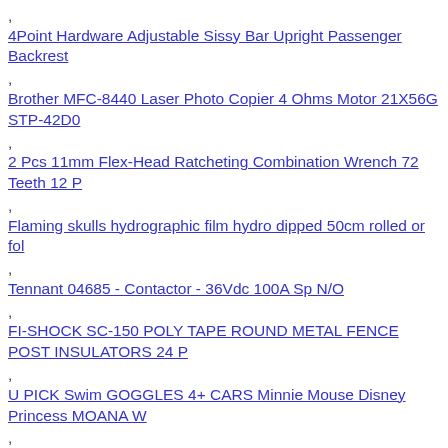, 4Point Hardware Adjustable Sissy Bar Upright Passenger Backrest
, Brother MFC-8440 Laser Photo Copier 4 Ohms Motor 21X56G STP-42D0
, 2 Pcs 11mm Flex-Head Ratcheting Combination Wrench 72 Teeth 12 P
, Flaming skulls hydrographic film hydro dipped 50cm rolled or fol
, Tennant 04685 - Contactor - 36Vdc 100A Sp N/O
, FI-SHOCK SC-150 POLY TAPE ROUND METAL FENCE POST INSULATORS 24 P
, U PICK Swim GOGGLES 4+ CARS Minnie Mouse Disney Princess MOANA W
, SLASH SIGNED AUTOBIOGRAPHY BOOK WITH PHOTO PROOF AND JSA COA psa
, Cabelas Krotos 20-60 x 86 HD Angled Spotting Scope - Brand New i
, SCORE! Beads LACROSSE Portable